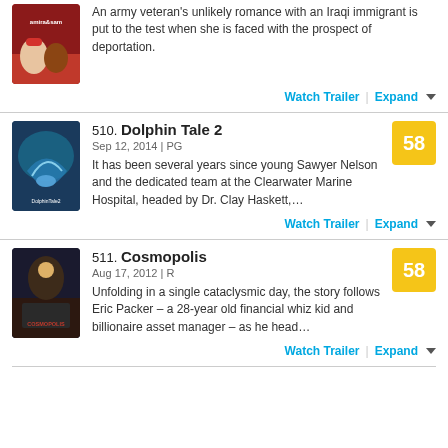[Figure (photo): Movie poster for Amira & Sam]
An army veteran's unlikely romance with an Iraqi immigrant is put to the test when she is faced with the prospect of deportation.
Watch Trailer | Expand
510. Dolphin Tale 2
Sep 12, 2014 | PG
[Figure (photo): Movie poster for Dolphin Tale 2]
It has been several years since young Sawyer Nelson and the dedicated team at the Clearwater Marine Hospital, headed by Dr. Clay Haskett,...
Watch Trailer | Expand
511. Cosmopolis
Aug 17, 2012 | R
[Figure (photo): Movie poster for Cosmopolis]
Unfolding in a single cataclysmic day, the story follows Eric Packer – a 28-year old financial whiz kid and billionaire asset manager – as he head...
Watch Trailer | Expand